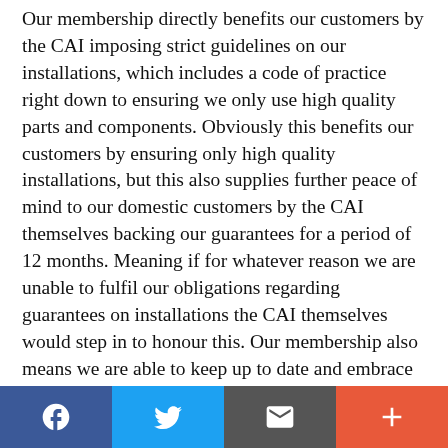Our membership directly benefits our customers by the CAI imposing strict guidelines on our installations, which includes a code of practice right down to ensuring we only use high quality parts and components. Obviously this benefits our customers by ensuring only high quality installations, but this also supplies further peace of mind to our domestic customers by the CAI themselves backing our guarantees for a period of 12 months. Meaning if for whatever reason we are unable to fulfil our obligations regarding guarantees on installations the CAI themselves would step in to honour this. Our membership also means we are able to keep up to date and embrace with changes within the industry. Unlike other industries where membership with a trade organisation is compulsory our membership is entirely our decision to further improve our service. If for whatever reason you may be unhappy with your
[Figure (infographic): Social sharing bar with four buttons: Facebook (blue), Twitter (light blue), Email/envelope (dark grey), and plus/more (orange-red)]